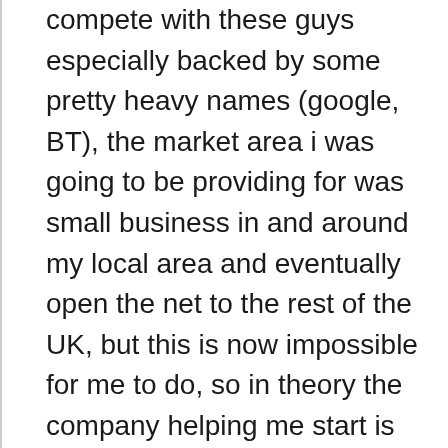compete with these guys especially backed by some pretty heavy names (google, BT), the market area i was going to be providing for was small business in and around my local area and eventually open the net to the rest of the UK, but this is now impossible for me to do, so in theory the company helping me start is the company shutting me down, i cant afford to carry on paying the fees i pay, every month when a site like gbbo exists, i have put and now lost alot of my own cash on this project, and i feel let down by my own country.
They are supposed to help start-ups like me but yet they have literally put me out of